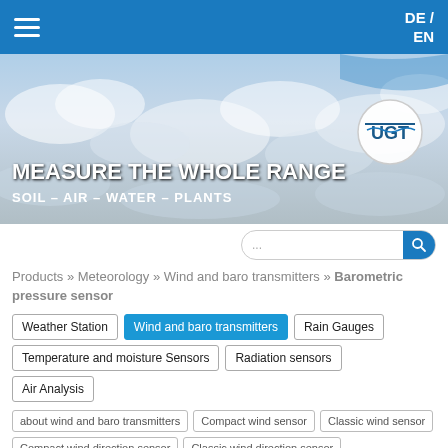DE / EN
[Figure (illustration): Hero banner with sky/clouds background showing UGT logo circle, headline MEASURE THE WHOLE RANGE, subline SOIL – AIR – WATER – PLANTS]
MEASURE THE WHOLE RANGE
SOIL – AIR – WATER – PLANTS
Products » Meteorology » Wind and baro transmitters » Barometric pressure sensor
Weather Station
Wind and baro transmitters
Rain Gauges
Temperature and moisture Sensors
Radiation sensors
Air Analysis
about wind and baro transmitters
Compact wind sensor
Classic wind sensor
Compact wind direction sensor
Classic wind direction sensor
Barometric pressure sensor